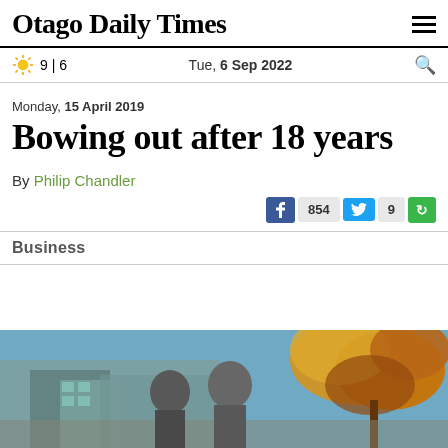Otago Daily Times
9 | 6  Tue, 6 Sep 2022
Monday, 15 April 2019
Bowing out after 18 years
By Philip Chandler
854  9
Business
[Figure (photo): Two men photographed outdoors with autumn foliage and buildings in the background]